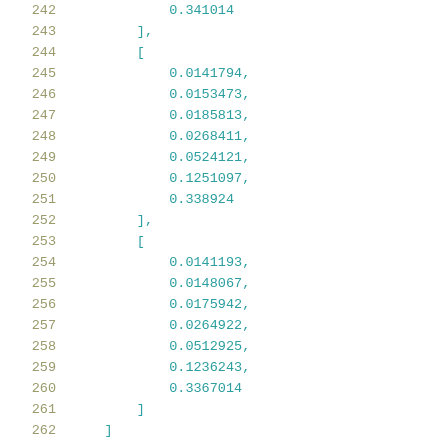Code listing lines 242-262 showing nested numeric arrays with floating point values: 0.341014, [0.0141794, 0.0153473, 0.0185813, 0.0268411, 0.0524121, 0.1251097, 0.338924], [0.0141193, 0.0148067, 0.0175942, 0.0264922, 0.0512925, 0.1236243, 0.3367014]